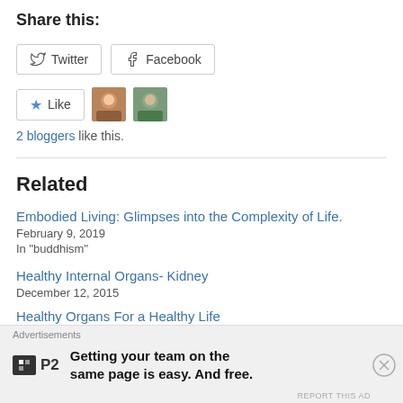Share this:
[Figure (screenshot): Twitter and Facebook share buttons]
[Figure (screenshot): Like button with two blogger avatars]
2 bloggers like this.
Related
Embodied Living: Glimpses into the Complexity of Life.
February 9, 2019
In "buddhism"
Healthy Internal Organs- Kidney
December 12, 2015
Healthy Organs For a Healthy Life
Advertisements
[Figure (screenshot): P2 advertisement: Getting your team on the same page is easy. And free.]